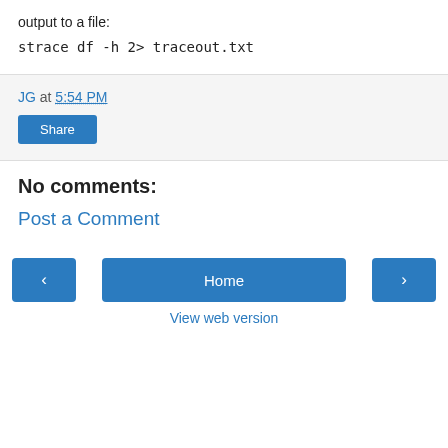output to a file:
strace df -h 2> traceout.txt
JG at 5:54 PM
Share
No comments:
Post a Comment
‹
Home
›
View web version